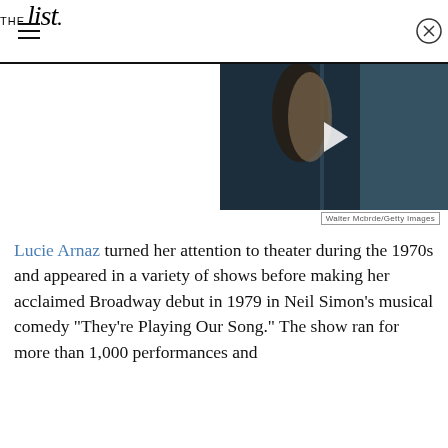THE list
[Figure (photo): Video thumbnail showing two people, dark background, with a play button overlay]
Walter Mcbrde/Getty Images
Lucie Arnaz turned her attention to theater during the 1970s and appeared in a variety of shows before making her acclaimed Broadway debut in 1979 in Neil Simon's musical comedy "They're Playing Our Song." The show ran for more than 1,000 performances and...